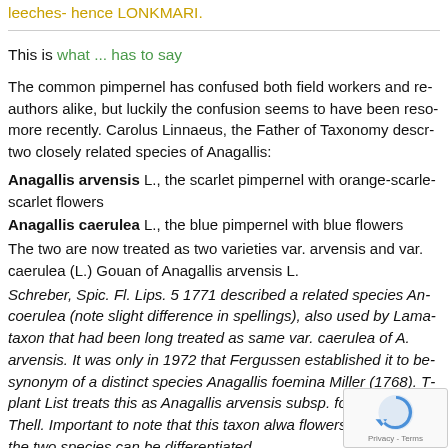leeches- hence LONKMARI.
This is what ... has to say
The common pimpernel has confused both field workers and re- authors alike, but luckily the confusion seems to have been reso- more recently. Carolus Linnaeus, the Father of Taxonomy descr- two closely related species of Anagallis: Anagallis arvensis L., the scarlet pimpernel with orange-scarle- scarlet flowers Anagallis caerulea L., the blue pimpernel with blue flowers The two are now treated as two varieties var. arvensis and var. caerulea (L.) Gouan of Anagallis arvensis L. Schreber, Spic. Fl. Lips. 5 1771 described a related species Ana- coerulea (note slight difference in spellings), also used by Lama- taxon that had been long treated as same var. caerulea of A. arvensis. It was only in 1972 that Fergussen established it to be- synonym of a distinct species Anagallis foemina Miller (1768). T- plant List treats this as Anagallis arvensis subsp. foe- Schinz & Thell. Important to note that this taxon alwa- flowers. This is how the two species can be differentiated.